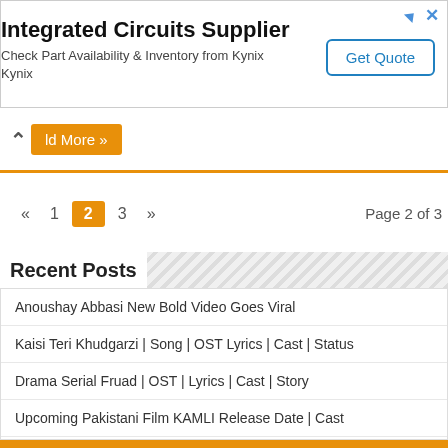[Figure (other): Advertisement banner for Integrated Circuits Supplier - Kynix, with Get Quote button]
ld More »
« 1 2 3 »  Page 2 of 3
Recent Posts
Anoushay Abbasi New Bold Video Goes Viral
Kaisi Teri Khudgarzi | Song | OST Lyrics | Cast | Status
Drama Serial Fruad | OST | Lyrics | Cast | Story
Upcoming Pakistani Film KAMLI Release Date | Cast
Upcoming Song Mukhra Release On Eid ul Fitar 2022